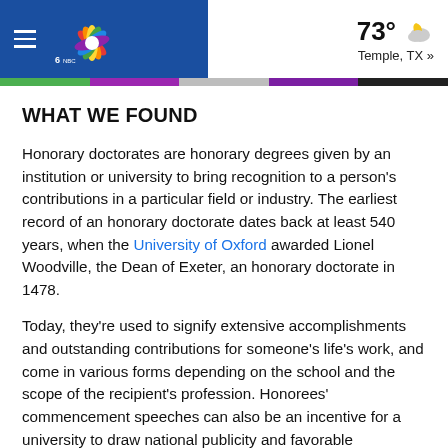NBC 6 South Florida — 73° Temple, TX »
WHAT WE FOUND
Honorary doctorates are honorary degrees given by an institution or university to bring recognition to a person's contributions in a particular field or industry. The earliest record of an honorary doctorate dates back at least 540 years, when the University of Oxford awarded Lionel Woodville, the Dean of Exeter, an honorary doctorate in 1478.
Today, they're used to signify extensive accomplishments and outstanding contributions for someone's life's work, and come in various forms depending on the school and the scope of the recipient's profession. Honorees' commencement speeches can also be an incentive for a university to draw national publicity and favorable